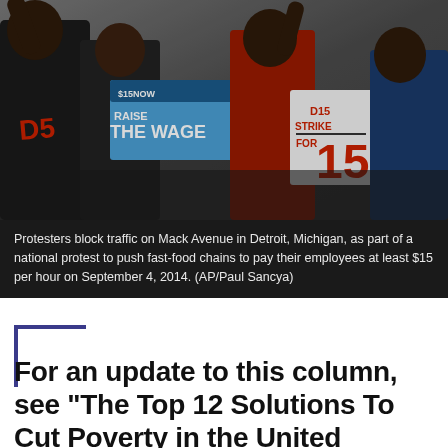[Figure (photo): Protesters blocking traffic on Mack Avenue in Detroit, Michigan, holding signs reading 'RAISE THE WAGE' and 'STRIKE FOR 15', as part of a national fast-food workers protest for $15 minimum wage, September 4, 2014.]
Protesters block traffic on Mack Avenue in Detroit, Michigan, as part of a national protest to push fast-food chains to pay their employees at least $15 per hour on September 4, 2014. (AP/Paul Sancya)
For an update to this column, see "The Top 12 Solutions To Cut Poverty in the United States."